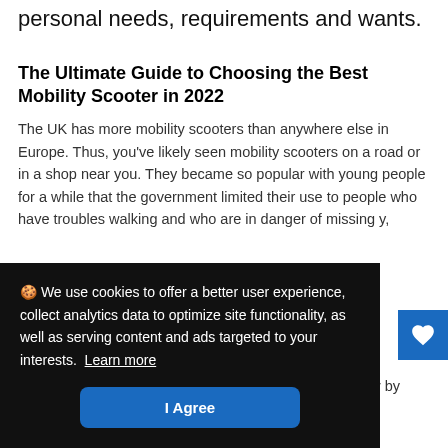personal needs, requirements and wants.
The Ultimate Guide to Choosing the Best Mobility Scooter in 2022
The UK has more mobility scooters than anywhere else in Europe. Thus, you've likely seen mobility scooters on a road or in a shop near you. They became so popular with young people for a while that the government limited their use to people who have troubles walking and who are in danger of missing...
🍪 We use cookies to offer a better user experience, collect analytics data to optimize site functionality, as well as serving content and ads targeted to your interests. Learn more
arthritis or spinal cord injuries to live their lives more fully by going places they would otherwise...